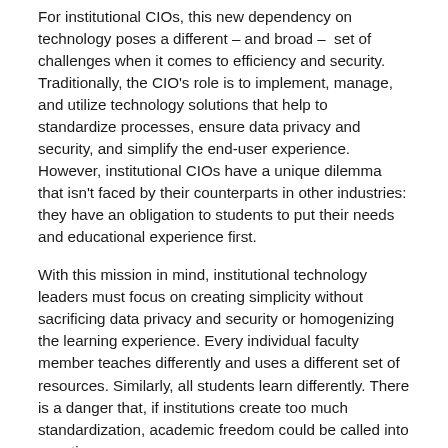For institutional CIOs, this new dependency on technology poses a different – and broad – set of challenges when it comes to efficiency and security. Traditionally, the CIO's role is to implement, manage, and utilize technology solutions that help to standardize processes, ensure data privacy and security, and simplify the end-user experience. However, institutional CIOs have a unique dilemma that isn't faced by their counterparts in other industries: they have an obligation to students to put their needs and educational experience first.
With this mission in mind, institutional technology leaders must focus on creating simplicity without sacrificing data privacy and security or homogenizing the learning experience. Every individual faculty member teaches differently and uses a different set of resources. Similarly, all students learn differently. There is a danger that, if institutions create too much standardization, academic freedom could be called into question.
As institutional CIOs adapt to the dramatic shift brought about